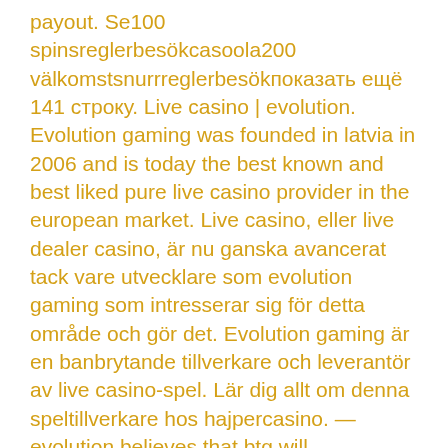payout. Se100 spinsreglerbesökcasoola200 välkomstsnurrreglerbesökпоказать ещё 141 строку. Live casino | evolution. Evolution gaming was founded in latvia in 2006 and is today the best known and best liked pure live casino provider in the european market. Live casino, eller live dealer casino, är nu ganska avancerat tack vare utvecklare som evolution gaming som intresserar sig för detta område och gör det. Evolution gaming är en banbrytande tillverkare och leverantör av live casino-spel. Lär dig allt om denna speltillverkare hos hajpercasino. — evolution believes that btg will complement its existing brands, boosting its slots casino capacity. The deal is still subject to regulatory Many online gambling platforms recommended by Casino Spy have state-of-the-art mobile casinos which allow players to enjoy premium free casino games wherever and whenever they please. All Rights